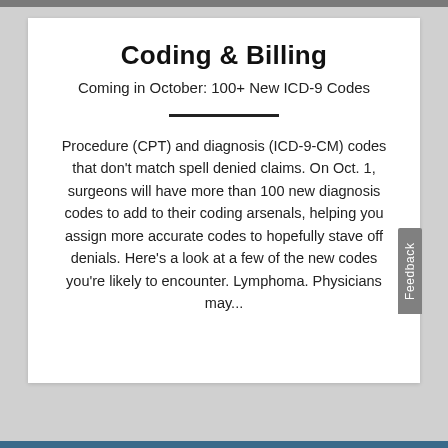Coding & Billing
Coming in October: 100+ New ICD-9 Codes
Procedure (CPT) and diagnosis (ICD-9-CM) codes that don't match spell denied claims. On Oct. 1, surgeons will have more than 100 new diagnosis codes to add to their coding arsenals, helping you assign more accurate codes to hopefully stave off denials. Here's a look at a few of the new codes you're likely to encounter. Lymphoma. Physicians may...